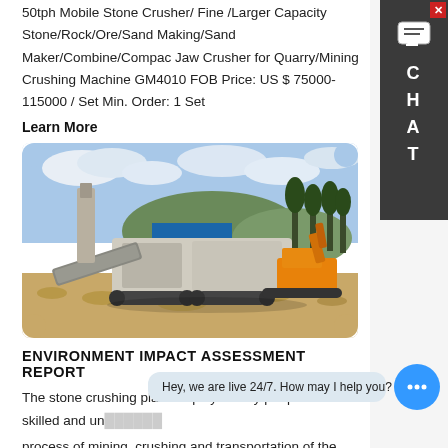50tph Mobile Stone Crusher/ Fine /Larger Capacity Stone/Rock/Ore/Sand Making/Sand Maker/Combine/Compac Jaw Crusher for Quarry/Mining Crushing Machine GM4010 FOB Price: US $ 75000-115000 / Set Min. Order: 1 Set
Learn More
[Figure (photo): Photograph of a mobile stone crushing plant set on a rocky terrain with trees and hills in the background under a partly cloudy sky.]
ENVIRONMENT IMPACT ASSESSMENT REPORT
The stone crushing plant employs many people both skilled and unskilled and in the same time it is a process of mining, crushing and transportation of the